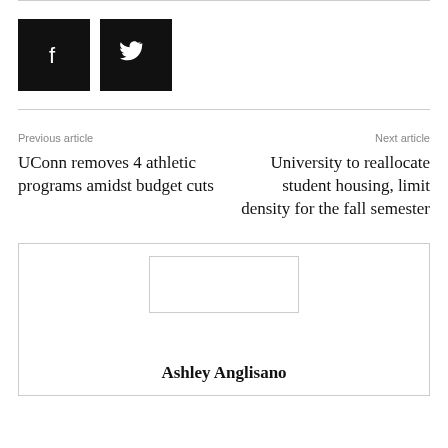[Figure (other): Social media share buttons: Facebook (f) and Twitter bird icon, black square buttons]
Previous article
UConn removes 4 athletic programs amidst budget cuts
Next article
University to reallocate student housing, limit density for the fall semester
[Figure (photo): Author avatar placeholder image (broken image icon)]
Ashley Anglisano